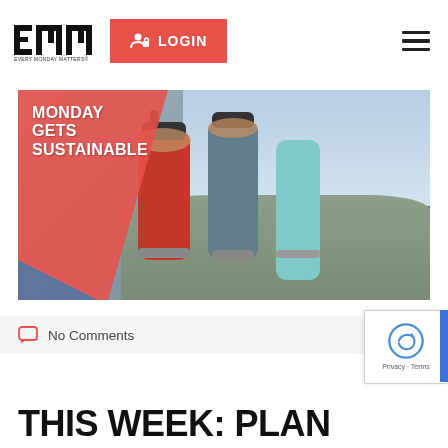[Figure (logo): EMM (Every Monday Matters) logo - black bold initials with tagline]
[Figure (infographic): Red LOGIN button with user/lock icon]
[Figure (infographic): Hamburger menu icon (three horizontal lines)]
[Figure (photo): Hero banner photo of people holding up reusable water bottles (red, gray, teal) outdoors on a mountain top with text overlay MONDAY GETS SUSTAINABLE on red diagonal background shape]
No Comments
[Figure (infographic): reCAPTCHA badge showing checkbox and Privacy - Terms text]
THIS WEEK: PLAN